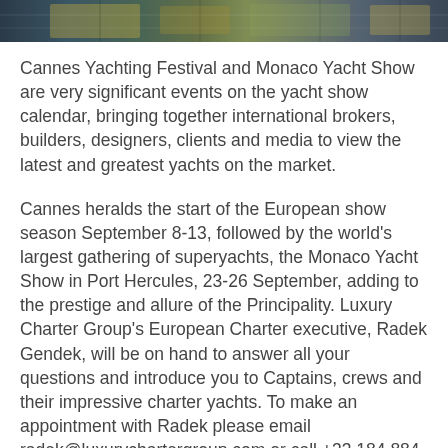[Figure (photo): Top portion of a yacht show photo strip showing boats/yachts at a marina or show]
Cannes Yachting Festival and Monaco Yacht Show are very significant events on the yacht show calendar, bringing together international brokers, builders, designers, clients and media to view the latest and greatest yachts on the market.
Cannes heralds the start of the European show season September 8-13, followed by the world's largest gathering of superyachts, the Monaco Yacht Show in Port Hercules, 23-26 September, adding to the prestige and allure of the Principality. Luxury Charter Group's European Charter executive, Radek Gendek, will be on hand to answer all your questions and introduce you to Captains, crews and their impressive charter yachts. To make an appointment with Radek please email radek@luxurychartergroup.com or call +33 184 884 395.
Cannes, the alluring playground of the jet-set, celebrities